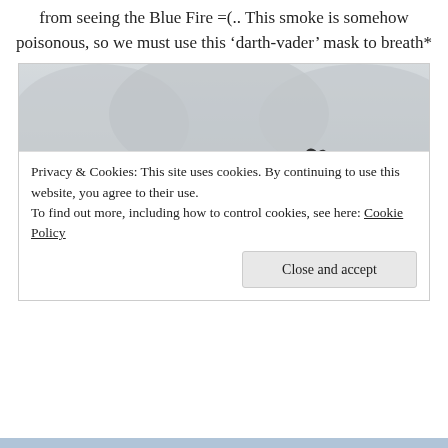from seeing the Blue Fire =(.. This smoke is somehow poisonous, so we must use this ‘darth-vader’ mask to breath*
[Figure (photo): Two young Asian travelers taking a selfie at a volcanic crater landscape. The woman on the left wears a gas mask over her face, and the man on the right has a gas mask pushed up on his forehead. Both are dressed warmly. The background shows a misty, rocky volcanic terrain.]
Privacy & Cookies: This site uses cookies. By continuing to use this website, you agree to their use.
To find out more, including how to control cookies, see here: Cookie Policy
Close and accept